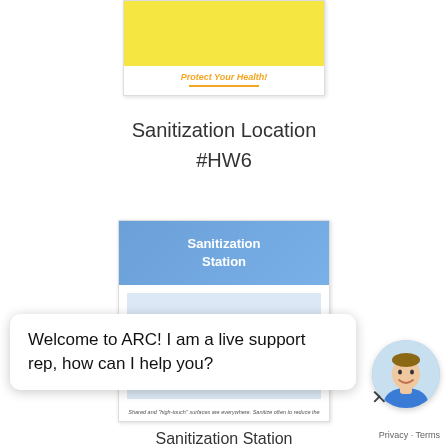[Figure (illustration): Partial view of a yellow health poster card with 'Protect Your Health!' text in orange italic and an orange underline]
Sanitization Location
#HW6
[Figure (illustration): Sanitization Station card with blue gradient header, cleaning spray bottle and hand sanitizer icons on light blue background, small italic text at bottom]
×
Welcome to ARC! I am a live support rep, how can I help you?
[Figure (photo): Live support representative avatar - smiling man]
Privacy · Terms
Sanitization Station